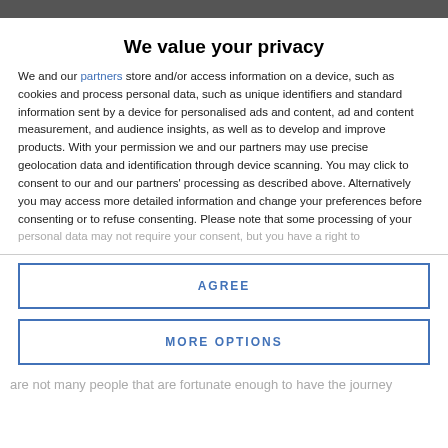We value your privacy
We and our partners store and/or access information on a device, such as cookies and process personal data, such as unique identifiers and standard information sent by a device for personalised ads and content, ad and content measurement, and audience insights, as well as to develop and improve products. With your permission we and our partners may use precise geolocation data and identification through device scanning. You may click to consent to our and our partners' processing as described above. Alternatively you may access more detailed information and change your preferences before consenting or to refuse consenting. Please note that some processing of your personal data may not require your consent, but you have a right to
AGREE
MORE OPTIONS
are not many people that are fortunate enough to have the journey